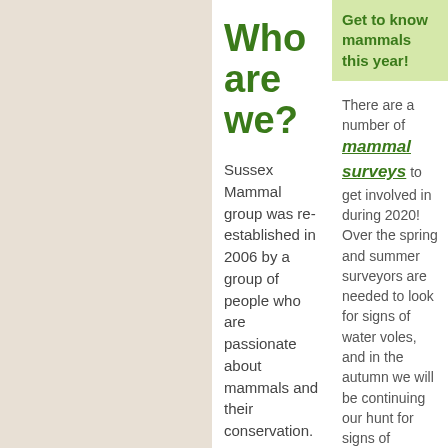Who are we?
Sussex Mammal group was re-established in 2006 by a group of people who are passionate about mammals and their conservation. Anyone can join the group as a volunteer and get involved with our work.
Get to know mammals this year!
There are a number of mammal surveys to get involved in during 2020! Over the spring and summer surveyors are needed to look for signs of water voles, and in the autumn we will be continuing our hunt for signs of harvest mice.
Take a look at the mammal surveys on